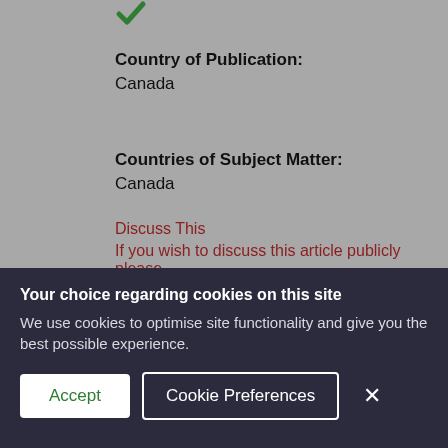[Figure (other): Green checkmark icon at the top of the page]
Country of Publication:
Canada
Countries of Subject Matter:
Canada
Discuss This
If you wish to discuss this article publicly please
Your choice regarding cookies on this site
We use cookies to optimise site functionality and give you the best possible experience.
Accept   Cookie Preferences   ×